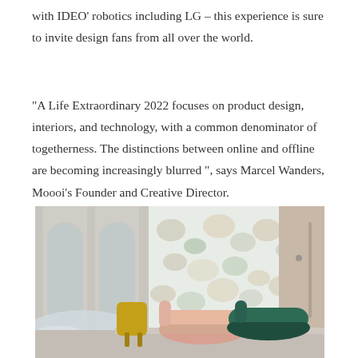with IDEO' robotics including LG – this experience is sure to invite design fans from all over the world.
"A Life Extraordinary 2022 focuses on product design, interiors, and technology, with a common denominator of togetherness. The distinctions between online and offline are becoming increasingly blurred ", says Marcel Wanders, Moooi's Founder and Creative Director.
[Figure (photo): Interior design scene showing elegant furniture including a salmon/pink curved sofa, a dark teal/green curved armchair, a yellow accent chair, set against a floral wallpaper backdrop with arched architectural elements and atmospheric fog effects.]